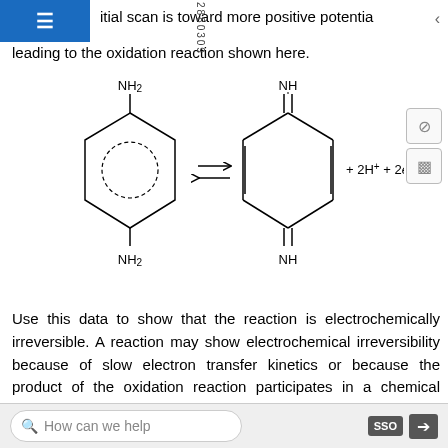≡  itial scan is toward more positive potentia leading to the oxidation reaction shown here.
[Figure (chemistry-diagram): Chemical equilibrium reaction showing p-phenylenediamine (benzene ring with two NH2 groups at para positions) converting to p-quinone diimine (cyclohexadiene ring with two NH groups as double bonds) plus 2H+ plus 2e-]
Use this data to show that the reaction is electrochemically irreversible. A reaction may show electrochemical irreversibility because of slow electron transfer kinetics or because the product of the oxidation reaction participates in a chemical reaction that produces an nonelectroactive species. Based on
How can we help  SSO